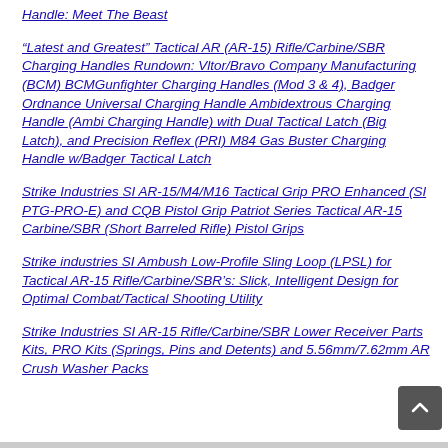Handle: Meet The Beast
“Latest and Greatest” Tactical AR (AR-15) Rifle/Carbine/SBR Charging Handles Rundown: Vltor/Bravo Company Manufacturing (BCM) BCMGunfighter Charging Handles (Mod 3 & 4), Badger Ordnance Universal Charging Handle Ambidextrous Charging Handle (Ambi Charging Handle) with Dual Tactical Latch (Big Latch), and Precision Reflex (PRI) M84 Gas Buster Charging Handle w/Badger Tactical Latch
Strike Industries SI AR-15/M4/M16 Tactical Grip PRO Enhanced (SI PTG-PRO-E) and CQB Pistol Grip Patriot Series Tactical AR-15 Carbine/SBR (Short Barreled Rifle) Pistol Grips
Strike industries SI Ambush Low-Profile Sling Loop (LPSL) for Tactical AR-15 Rifle/Carbine/SBR’s: Slick, Intelligent Design for Optimal Combat/Tactical Shooting Utility
Strike Industries SI AR-15 Rifle/Carbine/SBR Lower Receiver Parts Kits, PRO Kits (Springs, Pins and Detents) and 5.56mm/7.62mm AR Crush Washer Packs